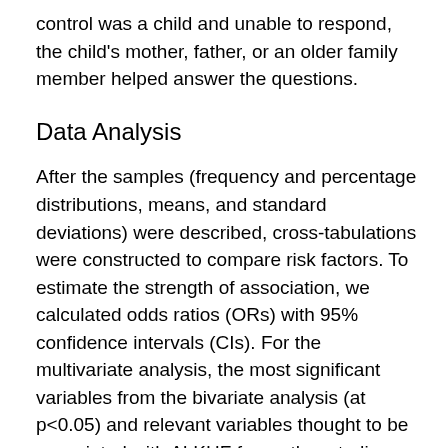control was a child and unable to respond, the child's mother, father, or an older family member helped answer the questions.
Data Analysis
After the samples (frequency and percentage distributions, means, and standard deviations) were described, cross-tabulations were constructed to compare risk factors. To estimate the strength of association, we calculated odds ratios (ORs) with 95% confidence intervals (CIs). For the multivariate analysis, the most significant variables from the bivariate analysis (at p<0.05) and relevant variables thought to be associated with ALKHF from other studies were selected for backward stepwise inclusion in the model.